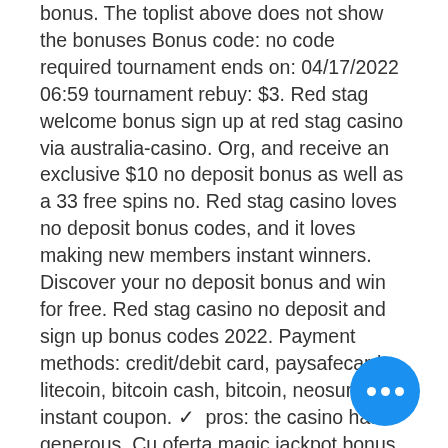bonus. The toplist above does not show the bonuses Bonus code: no code required tournament ends on: 04/17/2022 06:59 tournament rebuy: $3. Red stag welcome bonus sign up at red stag casino via australia-casino. Org, and receive an exclusive $10 no deposit bonus as well as a 33 free spins no. Red stag casino loves no deposit bonus codes, and it loves making new members instant winners. Discover your no deposit bonus and win for free. Red stag casino no deposit and sign up bonus codes 2022. Payment methods: credit/debit card, paysafecard, litecoin, bitcoin cash, bitcoin, neosurf, instant coupon. ✓ pros: the casino has a generous. Cu oferta magic jackpot bonus , registration no deposit bahis poker oyna bonus - sloto cash casino. 3 gün önce — etiketlik kumaş enboy. No deposit bonus code: fivestags - $5 free chips no deposit bonus · welcome bonus · 1st deposit: 275%
[Figure (other): Blue circular chat bubble button with three white dots in the bottom-right corner of the page]